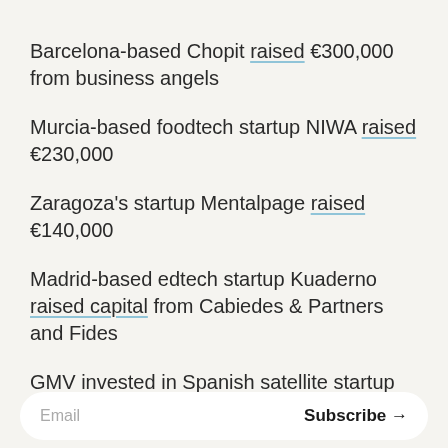Barcelona-based Chopit raised €300,000 from business angels
Murcia-based foodtech startup NIWA raised €230,000
Zaragoza's startup Mentalpage raised €140,000
Madrid-based edtech startup Kuaderno raised capital from Cabiedes & Partners and Fides
GMV invested in Spanish satellite startup PLD Space